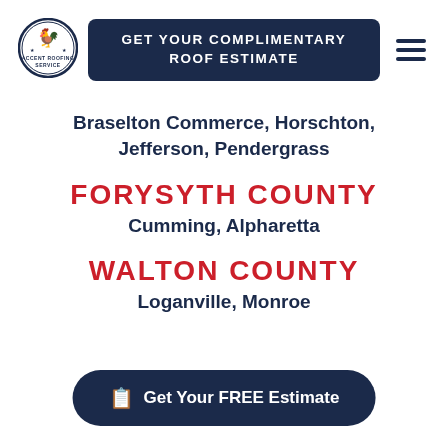[Figure (logo): Accent Roofing Service circular logo with rooster weather vane]
GET YOUR COMPLIMENTARY ROOF ESTIMATE
Braselton Commerce, Horschton, Jefferson, Pendergrass
FORYSYTH COUNTY
Cumming, Alpharetta
WALTON COUNTY
Loganville, Monroe
Get Your FREE Estimate